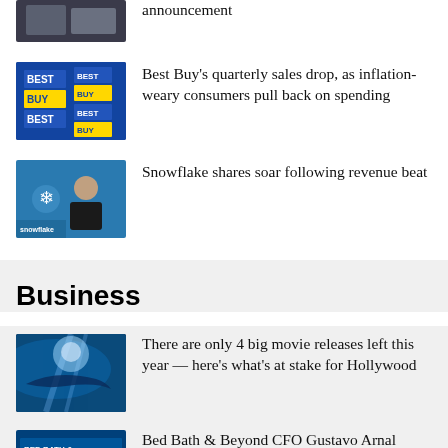[Figure (photo): Partial news thumbnail at top of page]
announcement
[Figure (photo): Best Buy store signage with blue LED displays]
Best Buy’s quarterly sales drop, as inflation-weary consumers pull back on spending
[Figure (photo): Snowflake company executive at event with Snowflake logo backdrop]
Snowflake shares soar following revenue beat
Business
[Figure (photo): Underwater scene with shark or large sea creature, blue tones]
There are only 4 big movie releases left this year — here’s what’s at stake for Hollywood
[Figure (photo): Bed Bath & Beyond store sign, partial view]
Bed Bath & Beyond CFO Gustavo Arnal